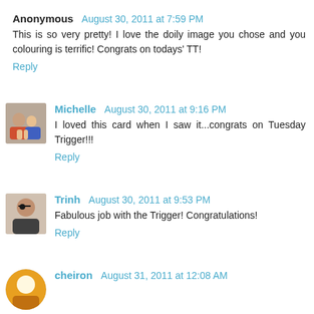Anonymous  August 30, 2011 at 7:59 PM
This is so very pretty! I love the doily image you chose and you colouring is terrific! Congrats on todays' TT!
Reply
Michelle  August 30, 2011 at 9:16 PM
I loved this card when I saw it...congrats on Tuesday Trigger!!!
Reply
Trinh  August 30, 2011 at 9:53 PM
Fabulous job with the Trigger! Congratulations!
Reply
cheiron  August 31, 2011 at 12:08 AM